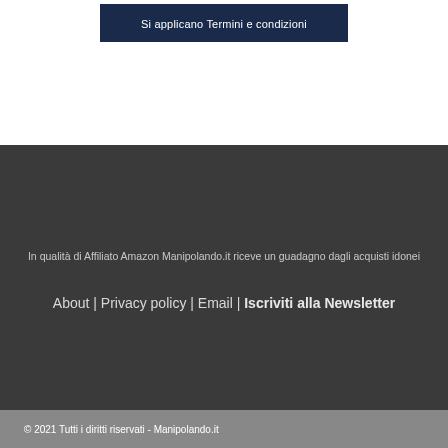Si applicano Termini e condizioni
In qualità di Affiliato Amazon Manipolando.it riceve un guadagno dagli acquisti idonei
About | Privacy policy | Email | Iscriviti alla Newsletter
© 2021 Tutti i diritti riservati - Manipolando.it